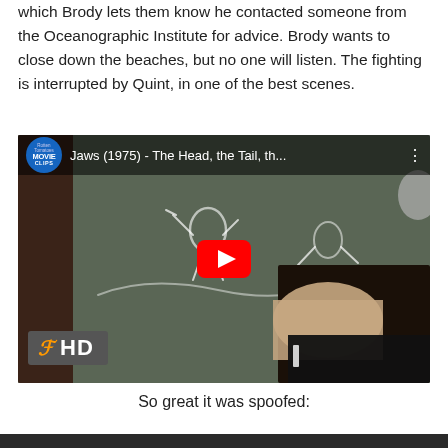which Brody lets them know he contacted someone from the Oceanographic Institute for advice. Brody wants to close down the beaches, but no one will listen. The fighting is interrupted by Quint, in one of the best scenes.
[Figure (screenshot): YouTube video embed showing a scene from Jaws (1975) - The Head, the Tail, th... A hand drawing on a chalkboard with chalk figures. The video has a Rotten Tomatoes Movie Clips channel badge, a YouTube play button in red, and an FX HD badge in the bottom left corner.]
So great it was spoofed:
[Figure (screenshot): Bottom edge of another video embed, showing a dark strip.]